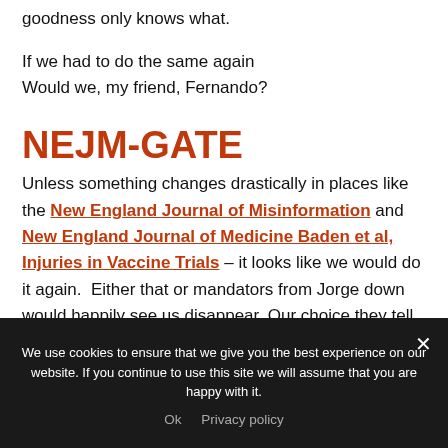goodness only knows what.
If we had to do the same again
Would we, my friend, Fernando?
NEJM-GATE
Unless something changes drastically in places like the New England Journal of Misinformation and New England Journal of Medicine Baden et al, Injuries in Vaccine Trials – it looks like we would do it again.  Either that or mandators from Jorge down would happily see us disappear. Our choice they tell us.
We use cookies to ensure that we give you the best experience on our website. If you continue to use this site we will assume that you are happy with it.
Ok   Privacy policy